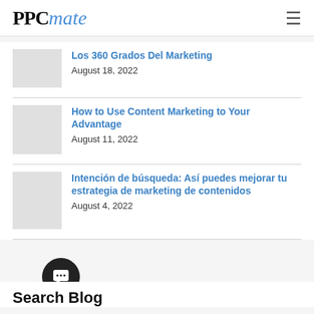PPCmate
Los 360 Grados Del Marketing
August 18, 2022
How to Use Content Marketing to Your Advantage
August 11, 2022
Intención de búsqueda: Así puedes mejorar tu estrategia de marketing de contenidos
August 4, 2022
Search Blog